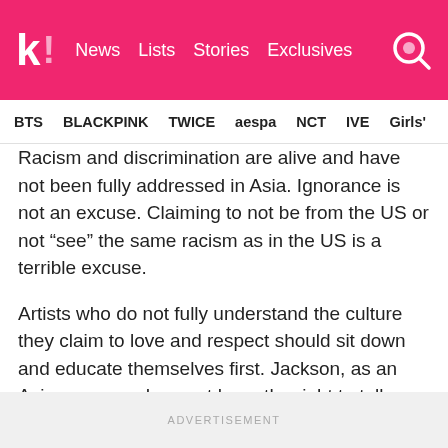k! News  Lists  Stories  Exclusives
BTS  BLACKPINK  TWICE  aespa  NCT  IVE  Girls'
Racism and discrimination are alive and have not been fully addressed in Asia. Ignorance is not an excuse. Claiming to not be from the US or not “see” the same racism as in the US is a terrible excuse.
Artists who do not fully understand the culture they claim to love and respect should sit down and educate themselves first. Jackson, as an Asian person, does not have the right to tell Black people they are wrong in feeling hurt when you have appropriated their culture.
ADVERTISEMENT